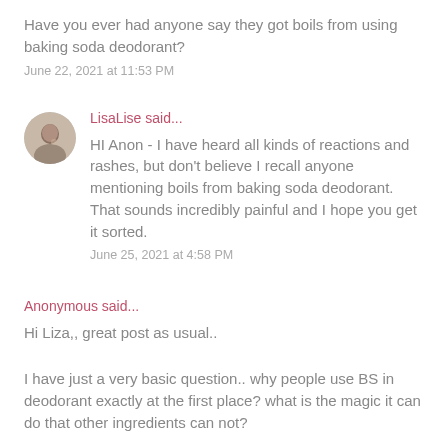Have you ever had anyone say they got boils from using baking soda deodorant?
June 22, 2021 at 11:53 PM
LisaLise said...
HI Anon - I have heard all kinds of reactions and rashes, but don't believe I recall anyone mentioning boils from baking soda deodorant. That sounds incredibly painful and I hope you get it sorted.
June 25, 2021 at 4:58 PM
Anonymous said...
Hi Liza,, great post as usual..
I have just a very basic question.. why people use BS in deodorant exactly at the first place? what is the magic it can do that other ingredients can not?